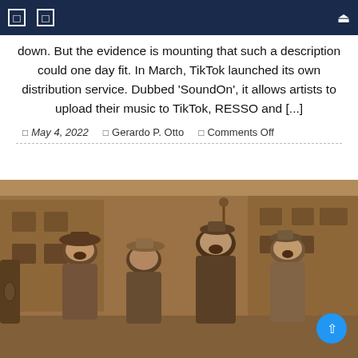Navigation bar with icons
down. But the evidence is mounting that such a description could one day fit. In March, TikTok launched its own distribution service. Dubbed ‘SoundOn’, it allows artists to upload their music to TikTok, RESSO and [...]
May 4, 2022   Gerardo P. Otto   Comments Off
[Figure (photo): Sepia-toned photograph of four older women wearing vintage hats and clothing, laughing and posing together on a street with brick buildings in the background.]